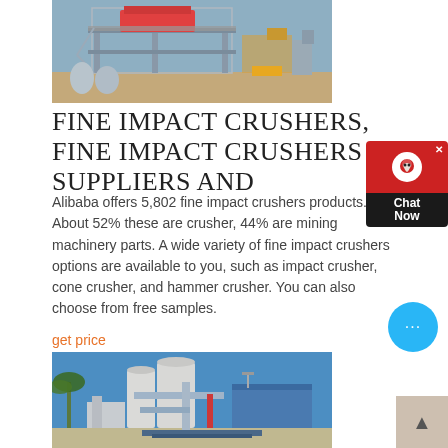[Figure (photo): Industrial fine impact crusher machine on a construction/mining site, elevated on metal frame structure, outdoor setting with blue sky]
FINE IMPACT CRUSHERS, FINE IMPACT CRUSHERS SUPPLIERS AND
Alibaba offers 5,802 fine impact crushers products. About 52% these are crusher, 44% are mining machinery parts. A wide variety of fine impact crushers options are available to you, such as impact crusher, cone crusher, and hammer crusher. You can also choose from free samples.
get price
[Figure (photo): Industrial grinding/crushing plant with large white cylindrical towers, pipes, and blue corrugated metal building, outdoor setting with palm trees and blue sky]